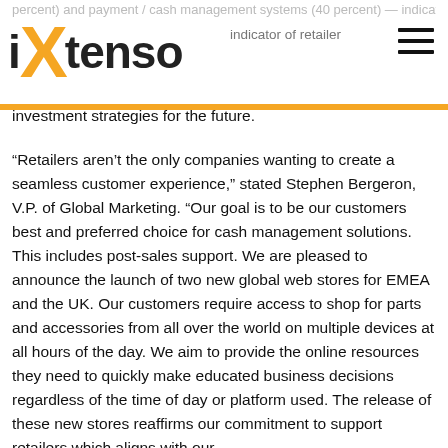percent) and payment / cash management systems (40 percent) — indicator of retailer investment strategies for the future.
[Figure (logo): iXtenso logo with orange X and black text]
investment strategies for the future.
“Retailers aren’t the only companies wanting to create a seamless customer experience,” stated Stephen Bergeron, V.P. of Global Marketing. “Our goal is to be our customers best and preferred choice for cash management solutions. This includes post-sales support. We are pleased to announce the launch of two new global web stores for EMEA and the UK. Our customers require access to shop for parts and accessories from all over the world on multiple devices at all hours of the day. We aim to provide the online resources they need to quickly make educated business decisions regardless of the time of day or platform used. The release of these new stores reaffirms our commitment to support retailers which aligns with our